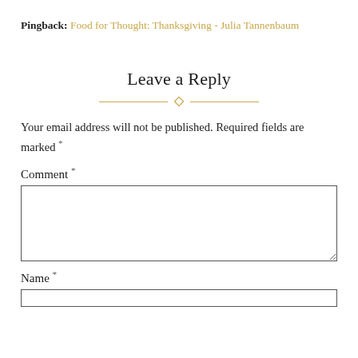Pingback: Food for Thought: Thanksgiving - Julia Tannenbaum
Leave a Reply
Your email address will not be published. Required fields are marked *
Comment *
Name *